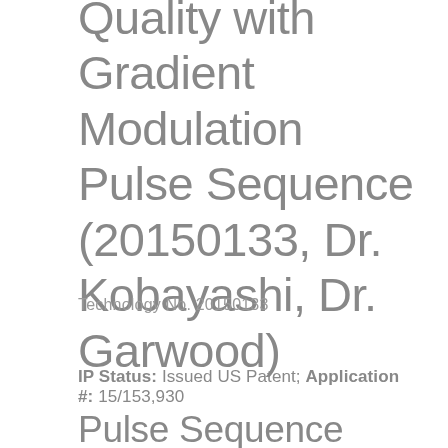Quality with Gradient Modulation Pulse Sequence (20150133, Dr. Kobayashi, Dr. Garwood)
Technology No. 20150133
IP Status: Issued US Patent; Application #: 15/153,930
Pulse Sequence Enhancement Improves